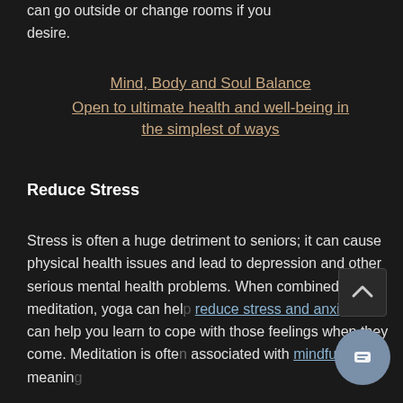can go outside or change rooms if you desire.
Mind, Body and Soul Balance
Open to ultimate health and well-being in the simplest of ways
Reduce Stress
Stress is often a huge detriment to seniors; it can cause physical health issues and lead to depression and other serious mental health problems. When combined with meditation, yoga can help reduce stress and anxiety and can help you learn to cope with those feelings when they come. Meditation is often associated with mindfulness, meaning